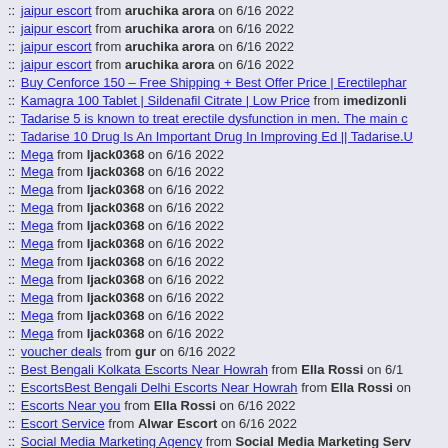:: jaipur escort from aruchika arora on 6/16 2022
:: jaipur escort from aruchika arora on 6/16 2022
:: jaipur escort from aruchika arora on 6/16 2022
:: jaipur escort from aruchika arora on 6/16 2022
:: Buy Cenforce 150 – Free Shipping + Best Offer Price | Erectilephar…
:: Kamagra 100 Tablet | Sildenafil Citrate | Low Price from imedizonli…
:: Tadarise 5 is known to treat erectile dysfunction in men. The main c…
:: Tadarise 10 Drug Is An Important Drug In Improving Ed || Tadarise.U…
:: Mega from ljack0368 on 6/16 2022
:: Mega from ljack0368 on 6/16 2022
:: Mega from ljack0368 on 6/16 2022
:: Mega from ljack0368 on 6/16 2022
:: Mega from ljack0368 on 6/16 2022
:: Mega from ljack0368 on 6/16 2022
:: Mega from ljack0368 on 6/16 2022
:: Mega from ljack0368 on 6/16 2022
:: Mega from ljack0368 on 6/16 2022
:: Mega from ljack0368 on 6/16 2022
:: Mega from ljack0368 on 6/16 2022
:: voucher deals from gur on 6/16 2022
:: Best Bengali Kolkata Escorts Near Howrah from Ella Rossi on 6/16…
:: EscortsBest Bengali Delhi Escorts Near Howrah from Ella Rossi on…
:: Escorts Near you from Ella Rossi on 6/16 2022
:: Escort Service from Alwar Escort on 6/16 2022
:: Social Media Marketing Agency from Social Media Marketing Serv…
:: Social Media Marketing Agency from Social Media Marketing Serv…
:: Erectile dysfunction - it is correctable - Consumption Vidalista 2.5 fr…
:: karachi escorts from bilal bilalkhan on 6/16 2022
:: lahore escorts from bilal bilalkhan on 6/16 2022
:: https://www.oncamoa.com/ from &#48148;&#52852;&#46972;&#49…
:: https://www.casinadrama.com from &#52852;&#51649;&#45432;…